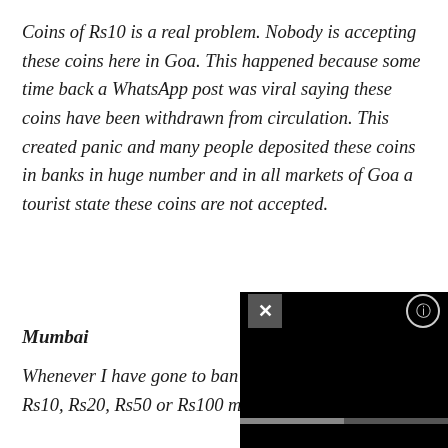Coins of Rs10 is a real problem. Nobody is accepting these coins here in Goa. This happened because some time back a WhatsApp post was viral saying these coins have been withdrawn from circulation. This created panic and many people deposited these coins in banks in huge number and in all markets of Goa a tourist state these coins are not accepted.
Mumbai
Whenever I have gone to ban... Rs10, Rs20, Rs50 or Rs100 m...
[Figure (screenshot): A video player overlay with black background, showing a close (x) button on the top left, a settings/info button on the top right, a progress bar in the middle, and a pause button at the bottom left.]